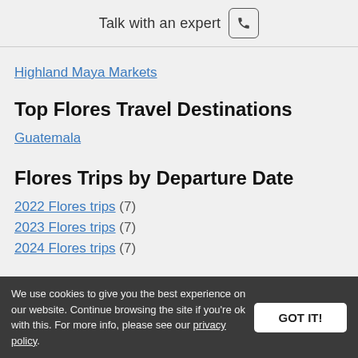Talk with an expert
Highland Maya Markets
Top Flores Travel Destinations
Guatemala
Flores Trips by Departure Date
2022 Flores trips (7)
2023 Flores trips (7)
2024 Flores trips (7)
We use cookies to give you the best experience on our website. Continue browsing the site if you're ok with this. For more info, please see our privacy policy.